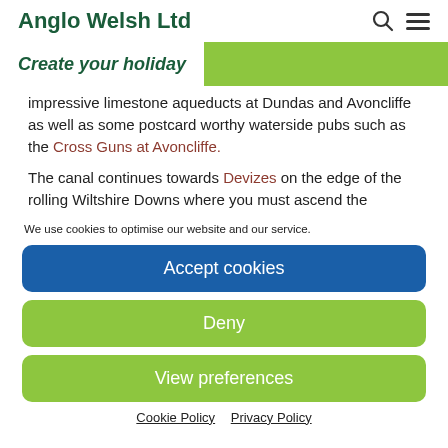Anglo Welsh Ltd
Create your holiday
impressive limestone aqueducts at Dundas and Avoncliffe as well as some postcard worthy waterside pubs such as the Cross Guns at Avoncliffe.
The canal continues towards Devizes on the edge of the rolling Wiltshire Downs where you must ascend the
We use cookies to optimise our website and our service.
Accept cookies
Deny
View preferences
Cookie Policy  Privacy Policy